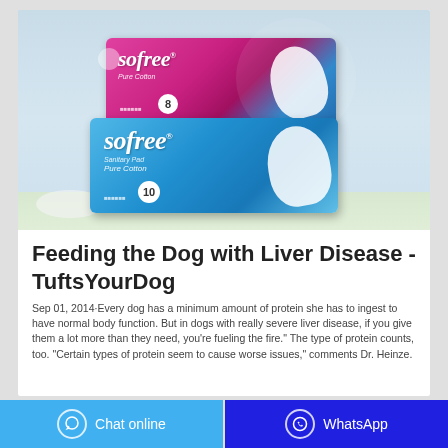[Figure (photo): Two packages of Sofree Pure Cotton sanitary pads stacked on a surface. Upper package is pink/magenta and blue, lower package is light blue. Both show the 'sofree' brand logo in italic white text with 'Pure Cotton' subtitle.]
Feeding the Dog with Liver Disease - TuftsYourDog
Sep 01, 2014·Every dog has a minimum amount of protein she has to ingest to have normal body function. But in dogs with really severe liver disease, if you give them a lot more than they need, you're fueling the fire." The type of protein counts, too. "Certain types of protein seem to cause worse issues," comments Dr. Heinze.
Chat online   WhatsApp